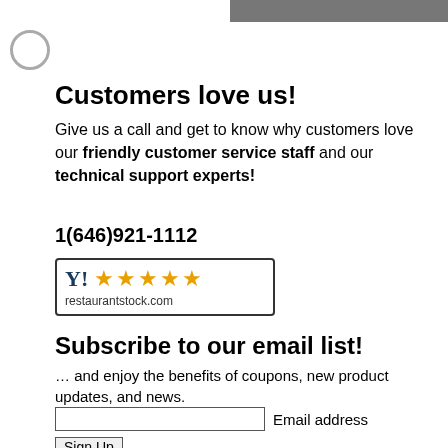[Figure (other): Gray banner/button at top of page]
[Figure (other): Circular loading/radio button icon]
Customers love us!
Give us a call and get to know why customers love our friendly customer service staff and our technical support experts!
1(646)921-1112
[Figure (other): 5-star rating badge with logo and restaurantstock.com]
Subscribe to our email list!
… and enjoy the benefits of coupons, new product updates, and news.
Email address input field and Sign Up button
Shop by brand
Arctic Air
Atosa